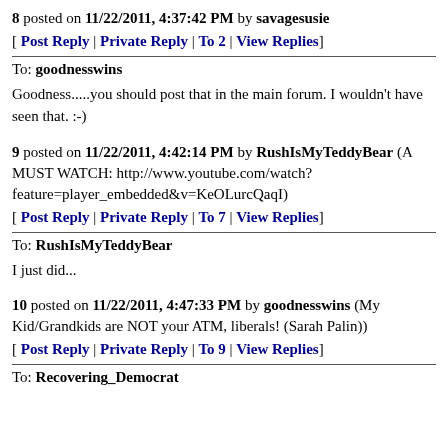8 posted on 11/22/2011, 4:37:42 PM by savagesusie
[ Post Reply | Private Reply | To 2 | View Replies]
To: goodnesswins
Goodness.....you should post that in the main forum. I wouldn't have seen that. :-)
9 posted on 11/22/2011, 4:42:14 PM by RushIsMyTeddyBear (A MUST WATCH: http://www.youtube.com/watch?feature=player_embedded&v=KeOLurcQaqI)
[ Post Reply | Private Reply | To 7 | View Replies]
To: RushIsMyTeddyBear
I just did...
10 posted on 11/22/2011, 4:47:33 PM by goodnesswins (My Kid/Grandkids are NOT your ATM, liberals! (Sarah Palin))
[ Post Reply | Private Reply | To 9 | View Replies]
To: Recovering_Democrat